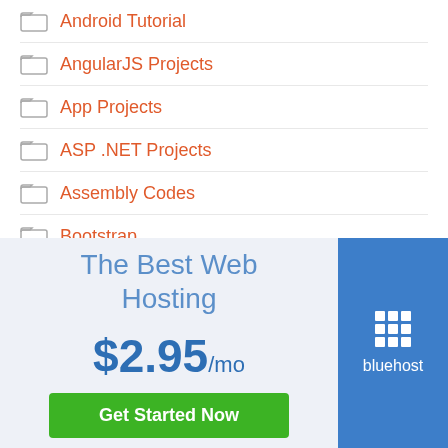Android Tutorial
AngularJS Projects
App Projects
ASP .NET Projects
Assembly Codes
Bootstrap
[Figure (infographic): Bluehost web hosting advertisement banner with light blue background showing 'The Best Web Hosting' text, '$2.95/mo' price, 'Get Started Now' green button, and blue Bluehost logo panel on the right]